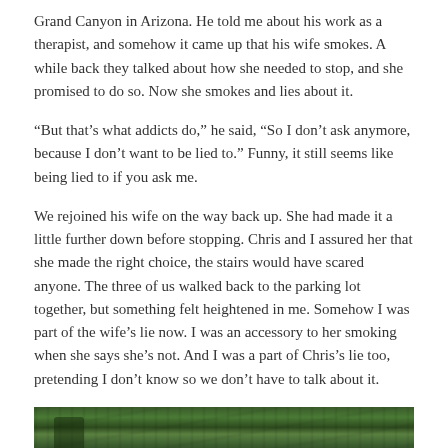Grand Canyon in Arizona. He told me about his work as a therapist, and somehow it came up that his wife smokes. A while back they talked about how she needed to stop, and she promised to do so. Now she smokes and lies about it.
“But that’s what addicts do,” he said, “So I don’t ask anymore, because I don’t want to be lied to.” Funny, it still seems like being lied to if you ask me.
We rejoined his wife on the way back up. She had made it a little further down before stopping. Chris and I assured her that she made the right choice, the stairs would have scared anyone. The three of us walked back to the parking lot together, but something felt heightened in me. Somehow I was part of the wife’s lie now. I was an accessory to her smoking when she says she’s not. And I was a part of Chris’s lie too, pretending I don’t know so we don’t have to talk about it.
[Figure (photo): A partial outdoor photograph showing dense green trees or forest vegetation, cropped at the bottom of the page.]